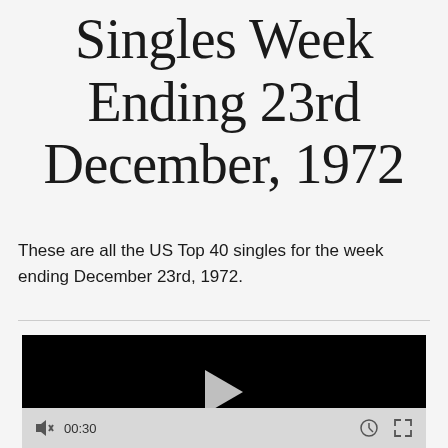Singles Week Ending 23rd December, 1972
These are all the US Top 40 singles for the week ending December 23rd, 1972.
[Figure (other): Embedded video player showing a black screen with a white play button triangle in the center, and video controls below showing a mute icon, timestamp 00:30, a settings gear icon, and a fullscreen icon.]